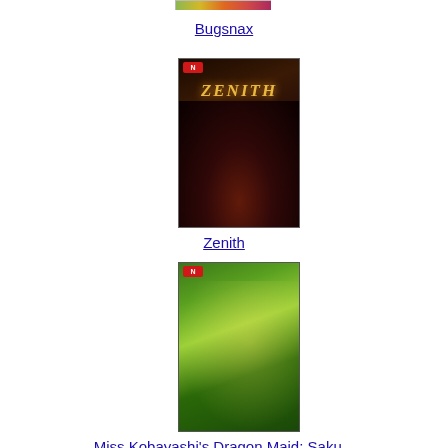[Figure (photo): Partial game cover image for Bugsnax at top of page (cropped)]
Bugsnax
[Figure (photo): Nintendo Switch game cover for Zenith showing dark fantasy artwork with the title ZENITH]
Zenith
[Figure (photo): Nintendo Switch game cover for Miss Kobayashi's Dragon Maid: Saku... showing colorful anime artwork]
Miss Kobayashi's Dragon Maid: Saku...
[Figure (photo): PS5 game cover for Thymesia showing dark gothic artwork with blue border]
Thymesia